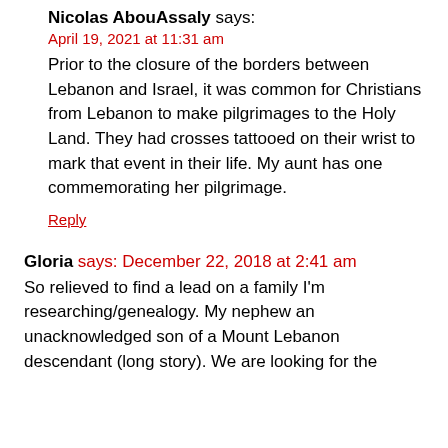Nicolas AbouAssaly says:
April 19, 2021 at 11:31 am
Prior to the closure of the borders between Lebanon and Israel, it was common for Christians from Lebanon to make pilgrimages to the Holy Land. They had crosses tattooed on their wrist to mark that event in their life. My aunt has one commemorating her pilgrimage.
Reply
Gloria says: December 22, 2018 at 2:41 am
So relieved to find a lead on a family I'm researching/genealogy. My nephew an unacknowledged son of a Mount Lebanon descendant (long story). We are looking for the